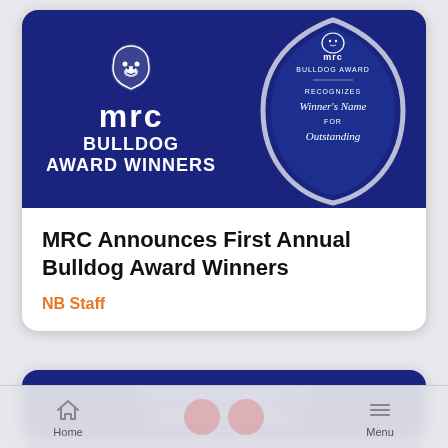[Figure (screenshot): MRC Bulldog Award Winners banner image with blue background, MRC logo with bulldog mascot on left showing text 'mrc BULLDOG AWARD WINNERS', and a glass/crystal award trophy on right with text 'mrc BULLDOG AWARD RECOGNIZES Winner's Name FOR Outstanding']
MRC Announces First Annual Bulldog Award Winners
NB Staff
Current Number of Censored Cases
Home   Menu